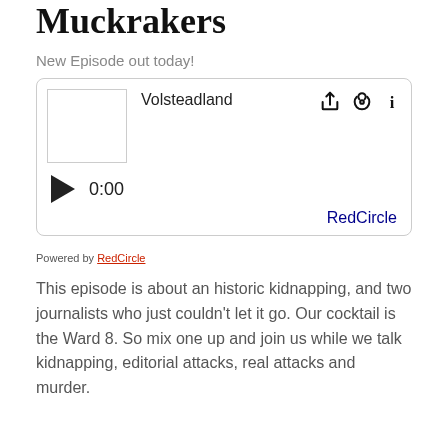Muckrakers
New Episode out today!
[Figure (screenshot): Podcast audio player widget showing episode titled 'Volsteadland' with album art placeholder, play button, 0:00 time display, share/podcast/info icons, and RedCircle branding.]
Powered by RedCircle
This episode is about an historic kidnapping, and two journalists who just couldn't let it go. Our cocktail is the Ward 8. So mix one up and join us while we talk kidnapping, editorial attacks, real attacks and murder.